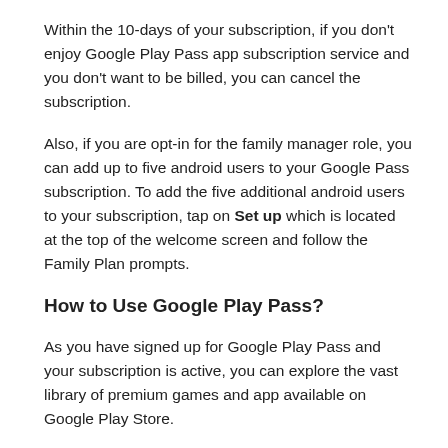Within the 10-days of your subscription, if you don't enjoy Google Play Pass app subscription service and you don't want to be billed, you can cancel the subscription.
Also, if you are opt-in for the family manager role, you can add up to five android users to your Google Pass subscription. To add the five additional android users to your subscription, tap on Set up which is located at the top of the welcome screen and follow the Family Plan prompts.
How to Use Google Play Pass?
As you have signed up for Google Play Pass and your subscription is active, you can explore the vast library of premium games and app available on Google Play Store.